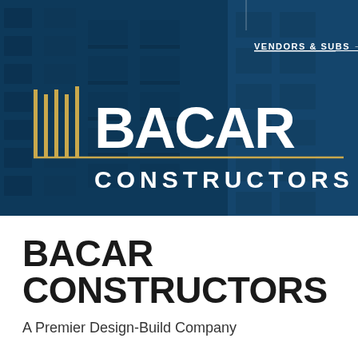[Figure (photo): Hero banner showing a blue-tinted apartment building exterior with BACAR Constructors logo overlaid. Logo features vertical gold lines/bars with 'BACAR' in large white text and 'CONSTRUCTORS' below, plus a horizontal gold line. A 'VENDORS & SUBS →' text link appears in the upper right.]
BACAR CONSTRUCTORS
A Premier Design-Build Company